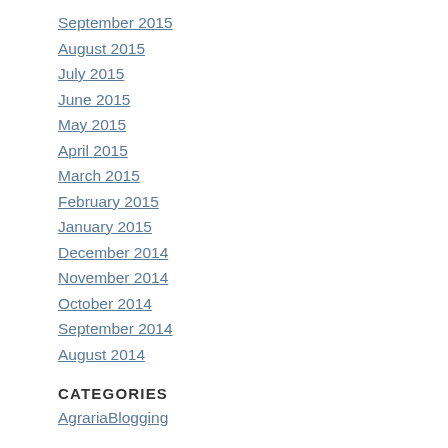September 2015
August 2015
July 2015
June 2015
May 2015
April 2015
March 2015
February 2015
January 2015
December 2014
November 2014
October 2014
September 2014
August 2014
CATEGORIES
AgrariaBlogging